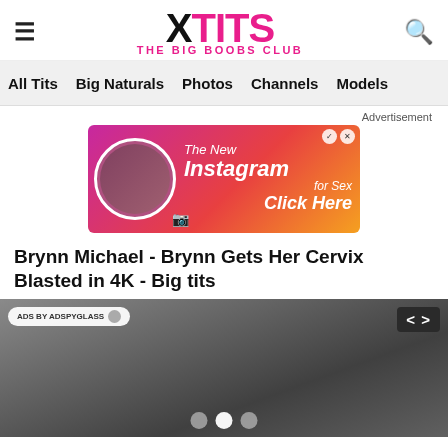XTITS - THE BIG BOOBS CLUB
All Tits  Big Naturals  Photos  Channels  Models
Advertisement
[Figure (other): Advertisement banner: The New Instagram for Sex - Click Here]
Brynn Michael - Brynn Gets Her Cervix Blasted in 4K - Big tits
[Figure (photo): Video thumbnail showing adult content with carousel navigation dots and ADS BY ADSPYGLASS badge]